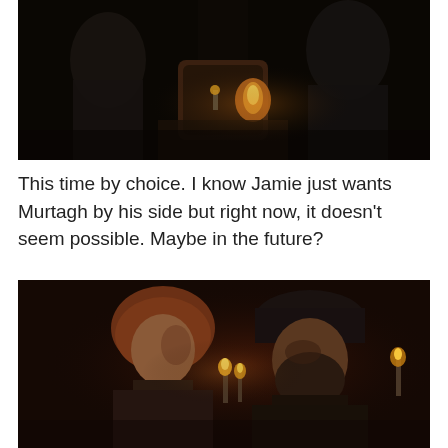[Figure (photo): Dark scene from a period drama (Outlander) showing two figures in a dimly lit room with a fireplace or torch glowing in the background. The characters appear to be in dark clothing in a stone interior.]
This time by choice. I know Jamie just wants Murtagh by his side but right now, it doesn't seem possible. Maybe in the future?
[Figure (photo): Dark scene from a period drama (Outlander) showing two male characters facing each other closely in a candlelit room. One has reddish-brown hair (Jamie Fraser) and the other wears a dark hat (Murtagh). Candles are visible in the background.]